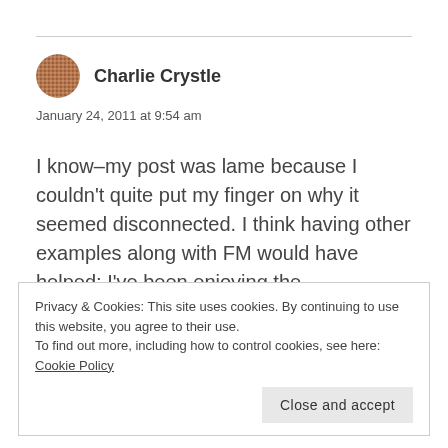Charlie Crystle
January 24, 2011 at 9:54 am
I know–my post was lame because I couldn't quite put my finger on why it seemed disconnected. I think having other examples along with FM would have helped; I've been enjoying the commercial-free thoughts.
Privacy & Cookies: This site uses cookies. By continuing to use this website, you agree to their use.
To find out more, including how to control cookies, see here: Cookie Policy
Close and accept